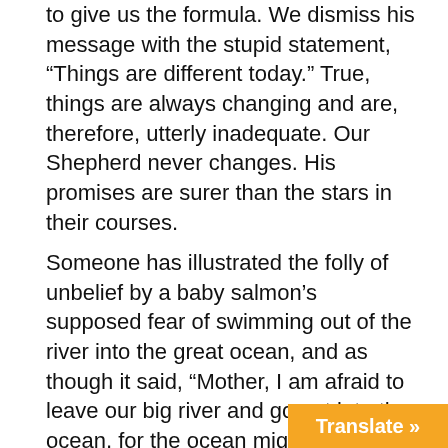to give us the formula. We dismiss his message with the stupid statement, “Things are different today.” True, things are always changing and are, therefore, utterly inadequate. Our Shepherd never changes. His promises are surer than the stars in their courses.
Someone has illustrated the folly of unbelief by a baby salmon’s supposed fear of swimming out of the river into the great ocean, and as though it said, “Mother, I am afraid to leave our big river and go out into the ocean, for the ocean might dry up and we would die of thirst.” God calls men to go and work for Him and gives them the promise, “Seek ye first the kingdom of God and His righteousness, and all these things shall be added unto you.” These men say, “This is not enough. I must see where my support is to come from.” God says, “My grace is sufficient for thee.” Men of unbelief say, “This may be true, but I must have something extra. Our Saviour-Shepherd says, “Go ye into all the world, and preach the Gospel to every creature . . ., “and, lo, I am with you always, even unto the end of the world.” Mark 16:15; Mt. 28:20. Men of unbelief say, “Tha